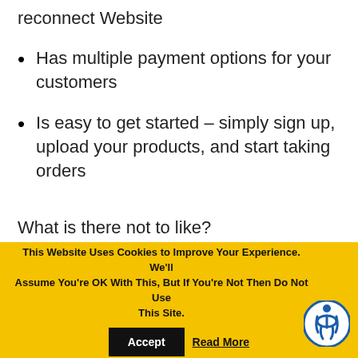reconnect Website
Has multiple payment options for your customers
Is easy to get started – simply sign up, upload your products, and start taking orders
What is there not to like?
This Website Uses Cookies to Improve Your Experience. We'll Assume You're OK With This, But If You're Not Then Do Not Use This Site. Accept  Read More